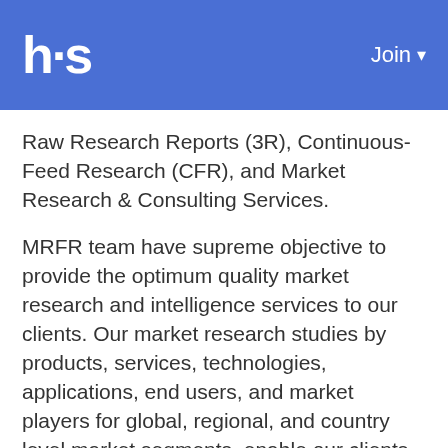hs  Join
Raw Research Reports (3R), Continuous-Feed Research (CFR), and Market Research & Consulting Services.
MRFR team have supreme objective to provide the optimum quality market research and intelligence services to our clients. Our market research studies by products, services, technologies, applications, end users, and market players for global, regional, and country level market segments, enable our clients to see more, know more, and do more, which help to answer all their most important questions.
In order to stay updated with technology and work process of the industry, MRFR often plans &